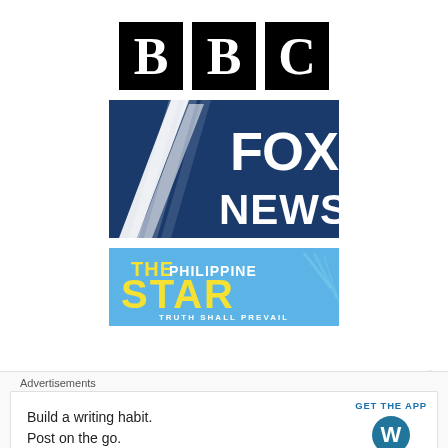[Figure (logo): BBC logo: three black squares each containing a white letter B, B, C]
[Figure (logo): Fox News logo: dark blue background with white diagonal slash marks and white bold text FOX NEWS]
[Figure (logo): The Philippine Star logo: light blue background with yellow bold text THE STAR, white text PHILIPPINE above, tagline TRUTH SHALL PREVAIL at bottom]
Advertisements
Build a writing habit.
Post on the go.
GET THE APP